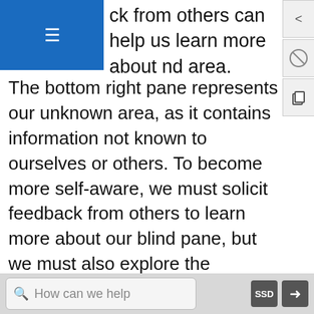ck from others can help us learn more about nd area.
The bottom right pane represents our unknown area, as it contains information not known to ourselves or others. To become more self-aware, we must solicit feedback from others to learn more about our blind pane, but we must also explore the unknown pane. To discover the unknown, we have to get out of our comfort zones and try new things. We have to pay attention to the things that excite or scare us and investigate them more to see if we can learn something new about ourselves. By being more aware of what is contained in each of these panes and how we can learn more about each one, we can more competently engage in self-disclosure and use this
How can we help